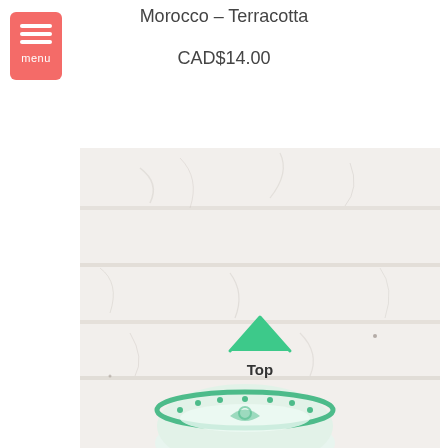Morocco – Terracotta
CAD$14.00
[Figure (photo): Product photo of a Moroccan terracotta dish/bowl with green decorative pattern, set against a white textured brick-like background. A green upward chevron arrow with the label 'Top' is overlaid on the image.]